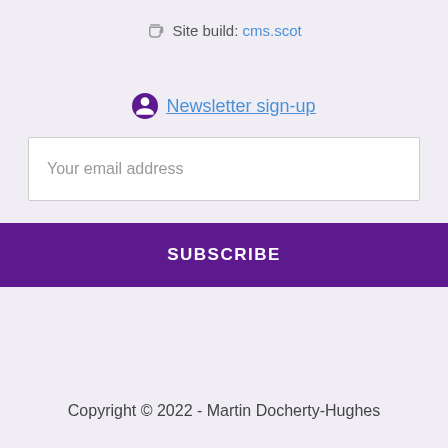🍵 Site build: cms.scot
Newsletter sign-up
Your email address
SUBSCRIBE
Copyright © 2022 - Martin Docherty-Hughes